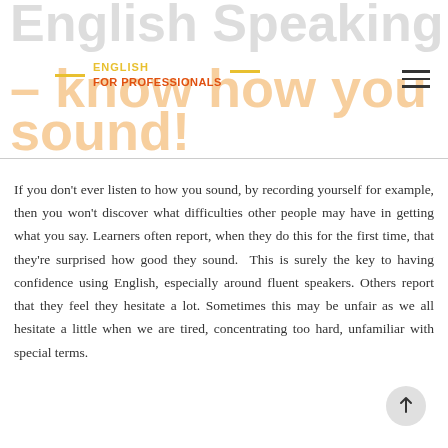English Speaking Skills — know how you sound!
[Figure (logo): English For Professionals logo with yellow/orange decorative lines]
If you don't ever listen to how you sound, by recording yourself for example, then you won't discover what difficulties other people may have in getting what you say. Learners often report, when they do this for the first time, that they're surprised how good they sound.  This is surely the key to having confidence using English, especially around fluent speakers. Others report that they feel they hesitate a lot. Sometimes this may be unfair as we all hesitate a little when we are tired, concentrating too hard, unfamiliar with special terms.